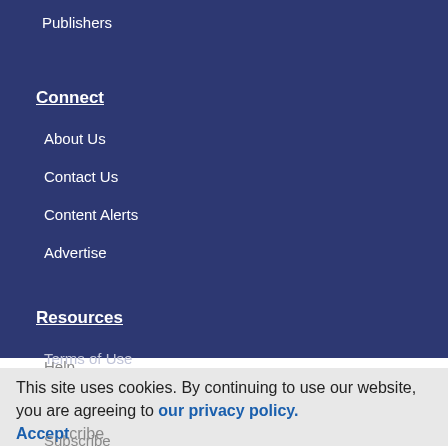Publishers
Connect
About Us
Contact Us
Content Alerts
Advertise
Resources
Terms of Use
Privacy
Help
This site uses cookies. By continuing to use our website, you are agreeing to our privacy policy. Accept
Subscribe